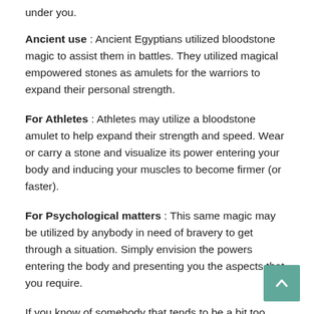under you.
Ancient use : Ancient Egyptians utilized bloodstone magic to assist them in battles. They utilized magical empowered stones as amulets for the warriors to expand their personal strength.
For Athletes : Athletes may utilize a bloodstone amulet to help expand their strength and speed. Wear or carry a stone and visualize its power entering your body and inducing your muscles to become firmer (or faster).
For Psychological matters : This same magic may be utilized by anybody in need of bravery to get through a situation. Simply envision the powers entering the body and presenting you the aspects that you require.
If you know of somebody that tends to be a bit too “me” oriented, give them a gift of a